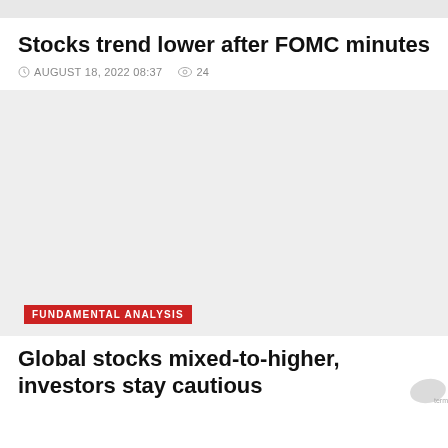Stocks trend lower after FOMC minutes
AUGUST 18, 2022 08:37  24
[Figure (photo): Light grey placeholder image area for article about stocks trending lower after FOMC minutes]
FUNDAMENTAL ANALYSIS
Global stocks mixed-to-higher, investors stay cautious